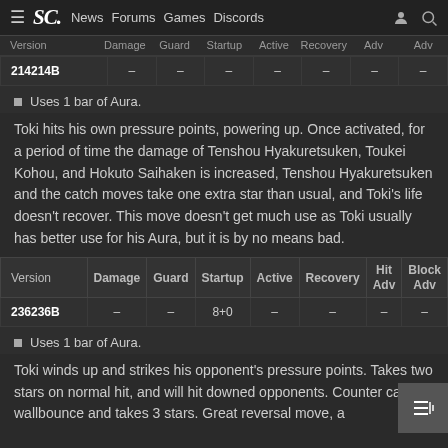≡ SC. News Forums Games Discords
| Version | Damage | Guard | Startup | Active | Recovery | Hit Adv | Block Adv |
| --- | --- | --- | --- | --- | --- | --- | --- |
| 214214B | – | – | – | – | – | – | – |
Uses 1 bar of Aura.
Toki hits his own pressure points, powering up. Once activated, for a period of time the damage of Tenshou Hyakuretsuken, Toukei Kohou, and Hokuto Saihaken is increased, Tenshou Hyakuretsuken and the catch moves take one extra star than usual, and Toki's life doesn't recover. This move doesn't get much use as Toki usually has better use for his Aura, but it is by no means bad.
| Version | Damage | Guard | Startup | Active | Recovery | Hit Adv | Block Adv |
| --- | --- | --- | --- | --- | --- | --- | --- |
| 236236B | – | – | 8+0 | – | – | – | – |
Uses 1 bar of Aura.
Toki winds up and strikes his opponent's pressure points. Takes two stars on normal hit, and will hit downed opponents. Counter causes wallbounce and takes 3 stars. Great reversal move, a